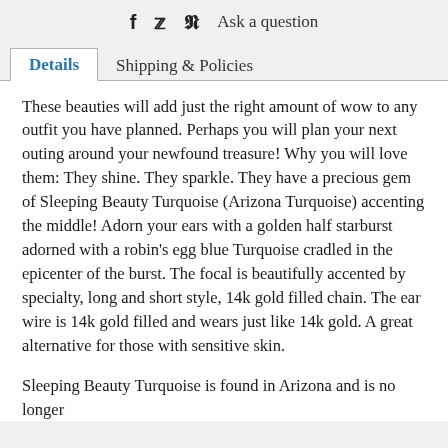f  ⌃  P  Ask a question
Details  Shipping & Policies
These beauties will add just the right amount of wow to any outfit you have planned. Perhaps you will plan your next outing around your newfound treasure! Why you will love them: They shine. They sparkle. They have a precious gem of Sleeping Beauty Turquoise (Arizona Turquoise) accenting the middle! Adorn your ears with a golden half starburst adorned with a robin's egg blue Turquoise cradled in the epicenter of the burst. The focal is beautifully accented by specialty, long and short style, 14k gold filled chain. The ear wire is 14k gold filled and wears just like 14k gold. A great alternative for those with sensitive skin.
Sleeping Beauty Turquoise is found in Arizona and is no longer